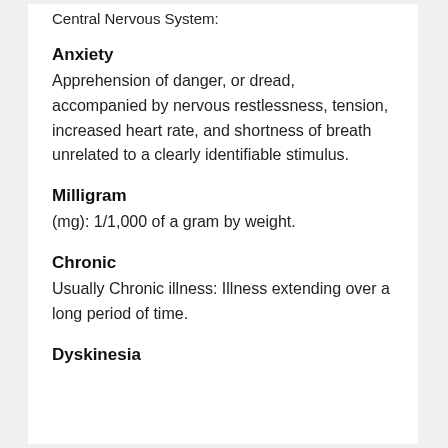Central Nervous System:
Anxiety
Apprehension of danger, or dread, accompanied by nervous restlessness, tension, increased heart rate, and shortness of breath unrelated to a clearly identifiable stimulus.
Milligram
(mg): 1/1,000 of a gram by weight.
Chronic
Usually Chronic illness: Illness extending over a long period of time.
Dyskinesia